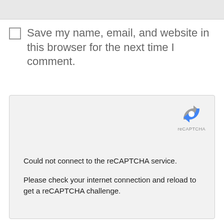Save my name, email, and website in this browser for the next time I comment.
[Figure (screenshot): reCAPTCHA widget showing error: Could not connect to the reCAPTCHA service. Please check your internet connection and reload to get a reCAPTCHA challenge.]